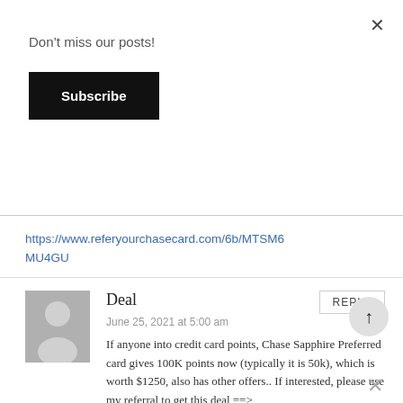Don't miss our posts!
Subscribe
https://www.referyourchasecard.com/6b/MTSM6MU4GU
Deal
June 25, 2021 at 5:00 am
If anyone into credit card points, Chase Sapphire Preferred card gives 100K points now (typically it is 50k), which is worth $1250, also has other offers.. If interested, please use my referral to get this deal ==> https://www.referyourchasecard.com/6b/6POWANIXRIA